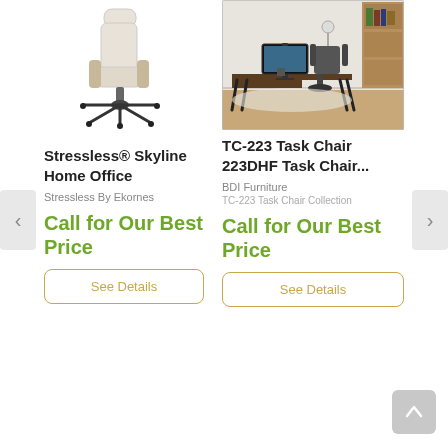[Figure (photo): Stressless Skyline Home Office chair - light beige/cream ergonomic chair with black five-star base on wheels]
[Figure (photo): TC-223 Task Chair room scene - modern home office setup with dark wood desk, monitor, task chair, shelving and lamp]
Stressless® Skyline Home Office
TC-223 Task Chair 223DHF Task Chair...
Stressless By Ekornes
BDI Furniture
TC-223 Task Chair Collection
Call for Our Best Price
Call for Our Best Price
See Details
See Details